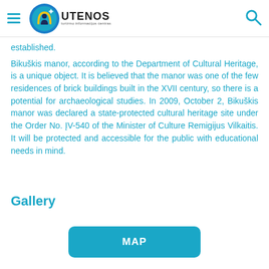Utenos turizmo informacijos centras
established.
Bikuškis manor, according to the Department of Cultural Heritage, is a unique object. It is believed that the manor was one of the few residences of brick buildings built in the XVII century, so there is a potential for archaeological studies. In 2009, October 2, Bikuškis manor was declared a state-protected cultural heritage site under the Order No. ĮV-540 of the Minister of Culture Remigijus Vilkaitis. It will be protected and accessible for the public with educational needs in mind.
Gallery
MAP